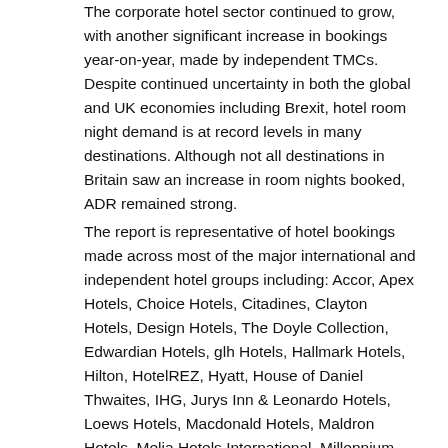The corporate hotel sector continued to grow, with another significant increase in bookings year-on-year, made by independent TMCs. Despite continued uncertainty in both the global and UK economies including Brexit, hotel room night demand is at record levels in many destinations. Although not all destinations in Britain saw an increase in room nights booked, ADR remained strong.
The report is representative of hotel bookings made across most of the major international and independent hotel groups including: Accor, Apex Hotels, Choice Hotels, Citadines, Clayton Hotels, Design Hotels, The Doyle Collection, Edwardian Hotels, glh Hotels, Hallmark Hotels, Hilton, HotelREZ, Hyatt, House of Daniel Thwaites, IHG, Jurys Inn & Leonardo Hotels, Loews Hotels, Macdonald Hotels, Maldron Hotels, Melia Hotels International, Millennium Hotels & Resorts, The Montcalm Hotels, NH Hotels, O'Callaghan Collection, Omni, Park Plaza, Pegasus, QHotels, Quest, Rotana, Radisson Hotel Group, Sabre Hospitality, Small Luxury Hotels, TravelClick, Travelodge,